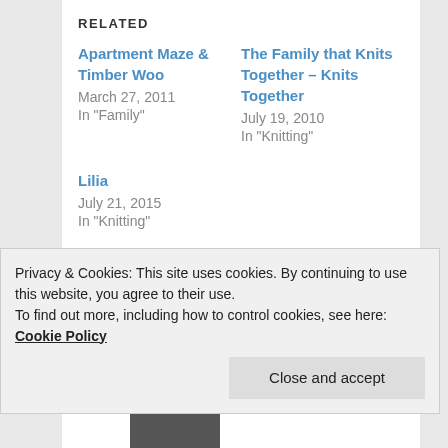RELATED
Apartment Maze & Timber Woo
March 27, 2011
In "Family"
The Family that Knits Together – Knits Together
July 19, 2010
In "Knitting"
Lilia
July 21, 2015
In "Knitting"
This entry was posted in Family, Knitting and tagged fair isle, Knitting, muffins, setting in sleeve, the sweater by cpeezers. Bookmark the permalink.
Privacy & Cookies: This site uses cookies. By continuing to use this website, you agree to their use.
To find out more, including how to control cookies, see here: Cookie Policy
Close and accept